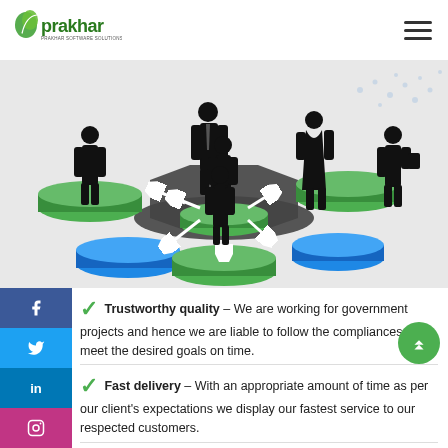Prakhar Software Solutions Pvt Ltd
[Figure (illustration): Business people silhouettes standing on colored platform discs (green, blue, grey) with arrows connecting them, representing network or team connections]
Trustworthy quality – We are working for government projects and hence we are liable to follow the compliances to meet the desired goals on time.
Fast delivery – With an appropriate amount of time as per our client's expectations we display our fastest service to our respected customers.